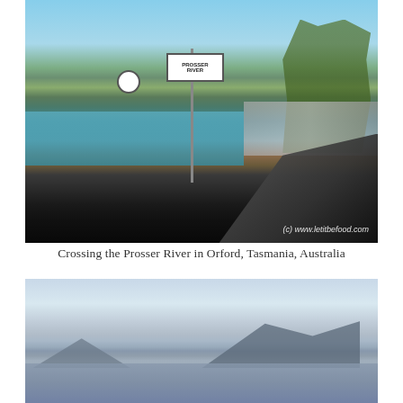[Figure (photo): Photograph of crossing the Prosser River in Orford, Tasmania, Australia. Shows a road bridge with guardrails on the right, a sign post with 'PROSSER RIVER' sign, the river/water visible on the left with a small marina or dock, buildings and eucalyptus trees in the background, and mountains in the distance under a blue sky with clouds. Watermark reads '(c) www.letitbefood.com' in bottom right corner.]
Crossing the Prosser River in Orford, Tasmania, Australia
[Figure (photo): Photograph of a seascape or coastal view showing a calm grey-blue sea in the foreground, with a dark mountain ridge visible in the distance across the water, and an overcast sky with light clouds above.]